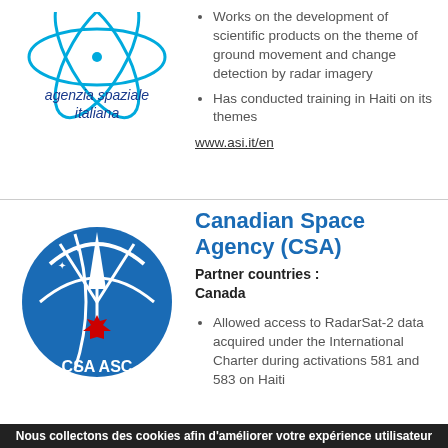[Figure (logo): Agenzia Spaziale Italiana (ASI) logo with blue circular orbit design and text]
Works on the development of scientific products on the theme of ground movement and change detection by radar imagery
Has conducted training in Haiti on its themes
www.asi.it/en
[Figure (logo): Canadian Space Agency (CSA ASC) blue circular logo with maple leaf]
Canadian Space Agency (CSA)
Partner countries : Canada
Allowed access to RadarSat-2 data acquired under the International Charter during activations 581 and 583 on Haiti
Nous collectons des cookies afin d'améliorer votre expérience utilisateur